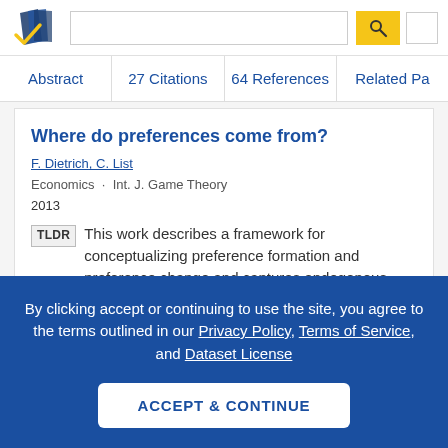[Figure (logo): Semantic Scholar logo with stylized book pages in navy/gold]
Abstract  27 Citations  64 References  Related Pa…
Where do preferences come from?
F. Dietrich, C. List
Economics · Int. J. Game Theory
2013
TLDR This work describes a framework for conceptualizing preference formation and preference change and captures endogenous preferences in various contexts and helps to
By clicking accept or continuing to use the site, you agree to the terms outlined in our Privacy Policy, Terms of Service, and Dataset License
ACCEPT & CONTINUE